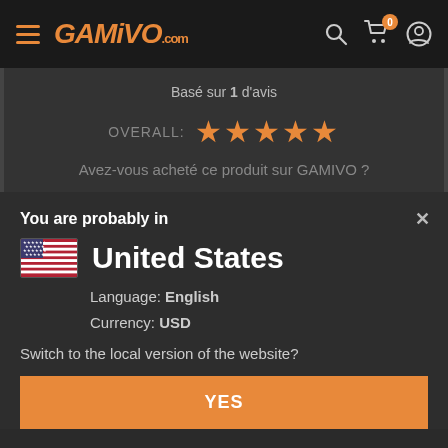GAMIVO.com
Basé sur 1 d'avis
OVERALL: ★★★★★
Avez-vous acheté ce produit sur GAMIVO ?
You are probably in
United States
Language: English
Currency: USD
Switch to the local version of the website?
YES